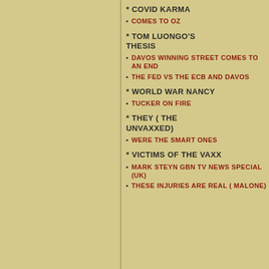* COVID KARMA
COMES TO OZ
* TOM LUONGO'S THESIS
DAVOS WINNING STREET COMES TO AN END
THE FED VS THE ECB AND DAVOS
* WORLD WAR NANCY
TUCKER ON FIRE
* THEY ( THE UNVAXXED)
WERE THE SMART ONES
* VICTIMS OF THE VAXX
MARK STEYN GBN TV NEWS SPECIAL (UK)
THESE INJURIES ARE REAL ( MALONE)